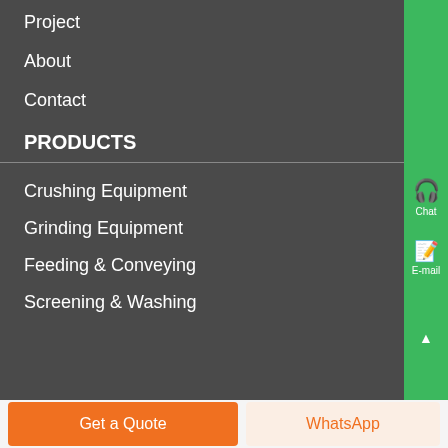Project
About
Contact
PRODUCTS
Crushing Equipment
Grinding Equipment
Feeding & Conveying
Screening & Washing
Chat
E-mail
Get a Quote
WhatsApp